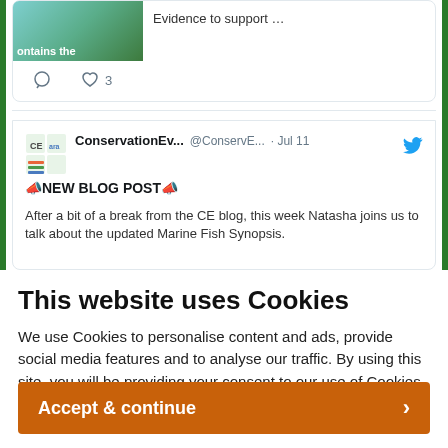[Figure (screenshot): Partial tweet card showing thumbnail image with text 'contains the' and 'Evidence to support ...' alongside heart/comment icons showing 3 likes]
[Figure (screenshot): Tweet by ConservationEv... @ConservE... Jul 11 with megaphone emoji NEW BLOG POST megaphone emoji, text about Natasha joining to talk about the updated Marine Fish Synopsis]
This website uses Cookies
We use Cookies to personalise content and ads, provide social media features and to analyse our traffic. By using this site, you will be providing your consent to our use of Cookies.
Accept & continue